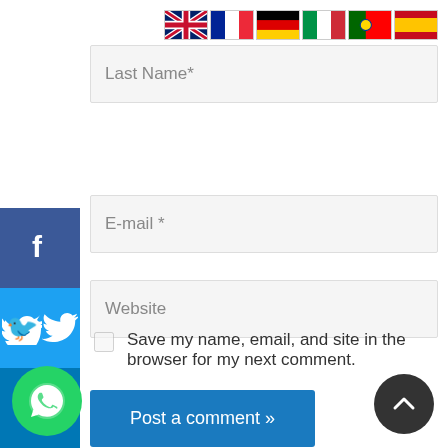[Figure (screenshot): Flag icons row: UK, France, Germany, Italy, Portugal, Spain]
Last Name*
E-mail *
Website
Save my name, email, and site in the browser for my next comment.
Post a comment »
[Figure (infographic): Social sharing sidebar with Facebook, Twitter, LinkedIn, Pinterest, WhatsApp, Share buttons]
[Figure (logo): WhatsApp floating button (green circle with phone icon)]
[Figure (other): Back-to-top dark circle button with upward chevron]